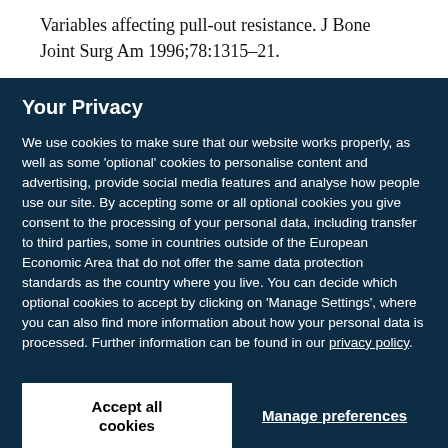Variables affecting pull-out resistance. J Bone Joint Surg Am 1996;78:1315–21.
Your Privacy
We use cookies to make sure that our website works properly, as well as some 'optional' cookies to personalise content and advertising, provide social media features and analyse how people use our site. By accepting some or all optional cookies you give consent to the processing of your personal data, including transfer to third parties, some in countries outside of the European Economic Area that do not offer the same data protection standards as the country where you live. You can decide which optional cookies to accept by clicking on 'Manage Settings', where you can also find more information about how your personal data is processed. Further information can be found in our privacy policy.
Accept all cookies
Manage preferences